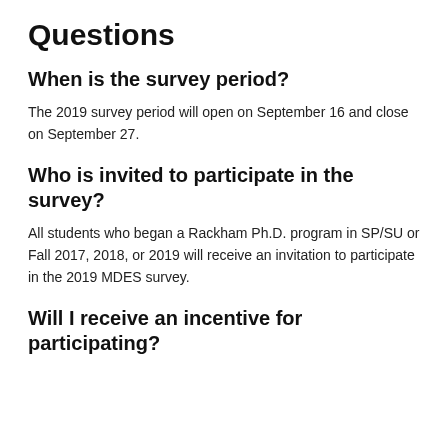Questions
When is the survey period?
The 2019 survey period will open on September 16 and close on September 27.
Who is invited to participate in the survey?
All students who began a Rackham Ph.D. program in SP/SU or Fall 2017, 2018, or 2019 will receive an invitation to participate in the 2019 MDES survey.
Will I receive an incentive for participating?